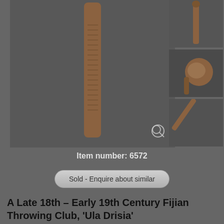[Figure (photo): Main large photo of Fijian throwing club 'Ula Drisia' — a wooden club with carved handle, shown vertically against dark grey background. A magnifier icon is visible at bottom right of the image.]
[Figure (photo): Thumbnail 1: Full-length side view of the Fijian throwing club against dark background.]
[Figure (photo): Thumbnail 2: Close-up of the bulbous head of the Fijian throwing club, showing carved detail.]
[Figure (photo): Thumbnail 3: Angled view of the club showing length and taper.]
Item number: 6572
Sold - Enquire about similar
A Late 18th – Early 19th Century Fijian Throwing Club, 'Ula Drisia'
Ex English Private Collection